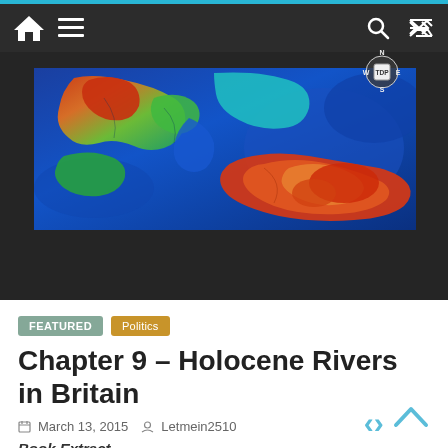Navigation bar with home, menu, search, and shuffle icons
[Figure (map): Topographic/bathymetric relief map of Britain showing elevation and sea floor depth in false colour (blue=deep/low, green/yellow=mid, red=high). A compass rose with N/S/E/W and TDP label is overlaid top-right of the map.]
FEATURED
Politics
Chapter 9 – Holocene Rivers in Britain
March 13, 2015   Letmein2510
Book Extract